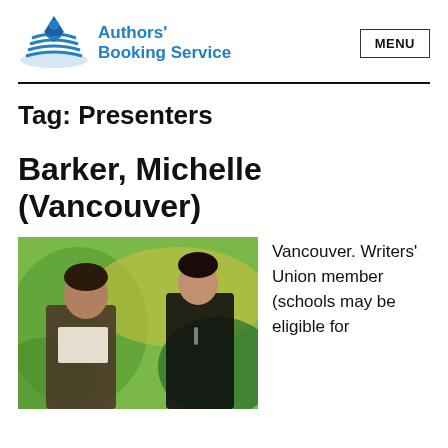Authors' Booking Service | MENU
Tag: Presenters
Barker, Michelle (Vancouver)
[Figure (photo): Two people sitting at a table, one looking at papers, against a colorful green and yellow background mural.]
Vancouver. Writers' Union member (schools may be eligible for